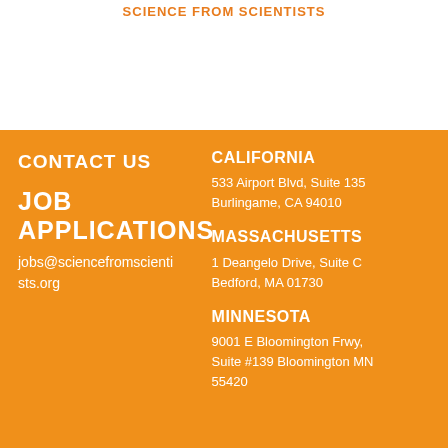SCIENCE FROM SCIENTISTS
CONTACT US
JOB APPLICATIONS
jobs@sciencefromscientists.org
CALIFORNIA
533 Airport Blvd, Suite 135
Burlingame, CA 94010
MASSACHUSETTS
1 Deangelo Drive, Suite C
Bedford, MA 01730
MINNESOTA
9001 E Bloomington Frwy, Suite #139 Bloomington MN 55420